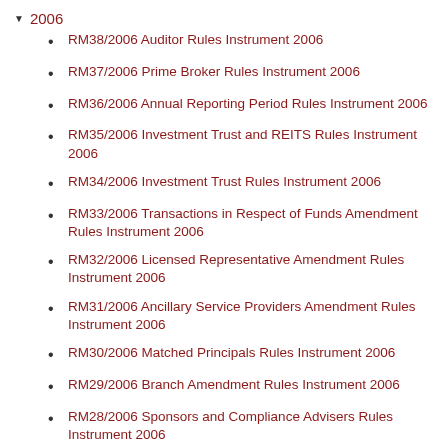2006
RM38/2006 Auditor Rules Instrument 2006
RM37/2006 Prime Broker Rules Instrument 2006
RM36/2006 Annual Reporting Period Rules Instrument 2006
RM35/2006 Investment Trust and REITS Rules Instrument 2006
RM34/2006 Investment Trust Rules Instrument 2006
RM33/2006 Transactions in Respect of Funds Amendment Rules Instrument 2006
RM32/2006 Licensed Representative Amendment Rules Instrument 2006
RM31/2006 Ancillary Service Providers Amendment Rules Instrument 2006
RM30/2006 Matched Principals Rules Instrument 2006
RM29/2006 Branch Amendment Rules Instrument 2006
RM28/2006 Sponsors and Compliance Advisers Rules Instrument 2006